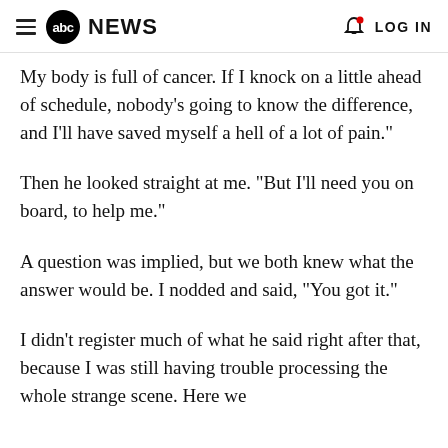abc NEWS  LOG IN
My body is full of cancer. If I knock on a little ahead of schedule, nobody's going to know the difference, and I'll have saved myself a hell of a lot of pain."
Then he looked straight at me. "But I'll need you on board, to help me."
A question was implied, but we both knew what the answer would be. I nodded and said, "You got it."
I didn't register much of what he said right after that, because I was still having trouble processing the whole strange scene. Here we